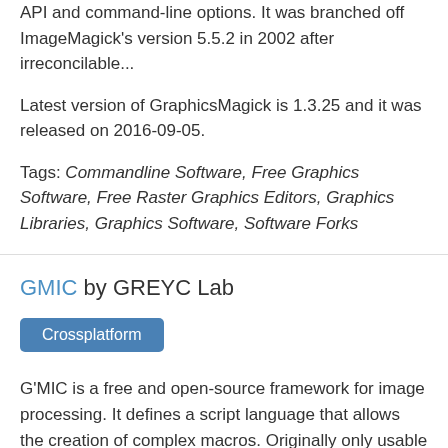API and command-line options. It was branched off ImageMagick's version 5.5.2 in 2002 after irreconcilable...
Latest version of GraphicsMagick is 1.3.25 and it was released on 2016-09-05.
Tags: Commandline Software, Free Graphics Software, Free Raster Graphics Editors, Graphics Libraries, Graphics Software, Software Forks
GMIC by GREYC Lab
Crossplatform
G'MIC is a free and open-source framework for image processing. It defines a script language that allows the creation of complex macros. Originally only usable through a command line interface, it...
Latest version of G'MIC is 2.0.3 and it was